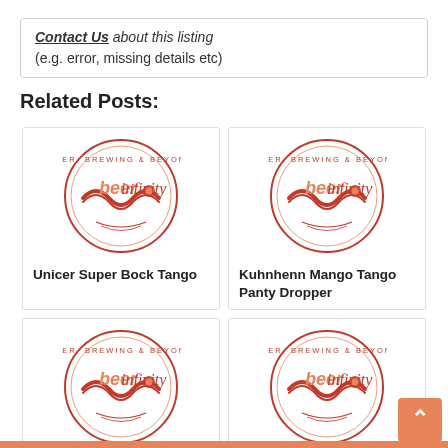Contact Us about this listing
(e.g. error, missing details etc)
Related Posts:
[Figure (logo): Beer Infinity logo - Beer, Brewing & Beyond circular badge]
Unicer Super Bock Tango
[Figure (logo): Beer Infinity logo - Beer, Brewing & Beyond circular badge]
Kuhnhenn Mango Tango Panty Dropper
[Figure (logo): Beer Infinity logo - Beer, Brewing & Beyond circular badge]
Steelback Red
[Figure (logo): Beer Infinity logo - Beer, Brewing & Beyond circular badge]
Steelback Chain